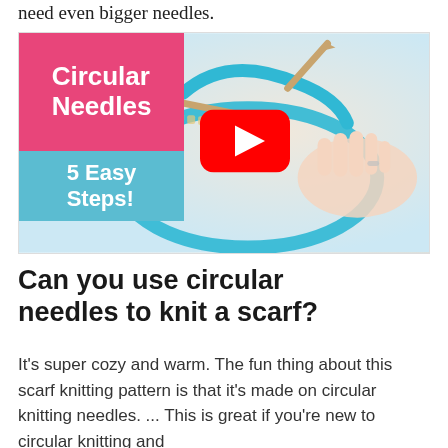need even bigger needles.
[Figure (screenshot): YouTube video thumbnail showing circular knitting needles with teal yarn and a hand. Overlay text reads 'Circular Needles' in white on a pink box, and '5 Easy Steps!' in white on a teal box. A red YouTube play button is centered on the image.]
Can you use circular needles to knit a scarf?
It's super cozy and warm. The fun thing about this scarf knitting pattern is that it's made on circular knitting needles. ... This is great if you're new to circular knitting and